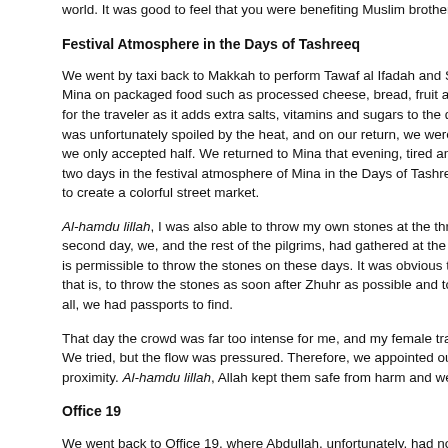world. It was good to feel that you were benefiting Muslim brothers and sisters,
Festival Atmosphere in the Days of Tashreeq
We went by taxi back to Makkah to perform Tawaf al Ifadah and Sa`i, having brought from Mina on packaged food such as processed cheese, bread, fruit and juice. I can for the traveler as it adds extra salts, vitamins and sugars to the diet. The food was unfortunately spoiled by the heat, and on our return, we were offered a full we only accepted half. We returned to Mina that evening, tired and sore although two days in the festival atmosphere of Mina in the Days of Tashreeq, when all th to create a colorful street market.
Al-hamdu lillah, I was also able to throw my own stones at the three Jamarat on second day, we, and the rest of the pilgrims, had gathered at the Jamarat waitin is permissible to throw the stones on these days. It was obvious that everyone e that is, to throw the stones as soon after Zhuhr as possible and to execute a qui all, we had passports to find.
That day the crowd was far too intense for me, and my female traveling compan We tried, but the flow was pressured. Therefore, we appointed our husbands as proximity. Al-hamdu lillah, Allah kept them safe from harm and we left for Makka
Office 19
We went back to Office 19, where Abdullah, unfortunately, had not located our p